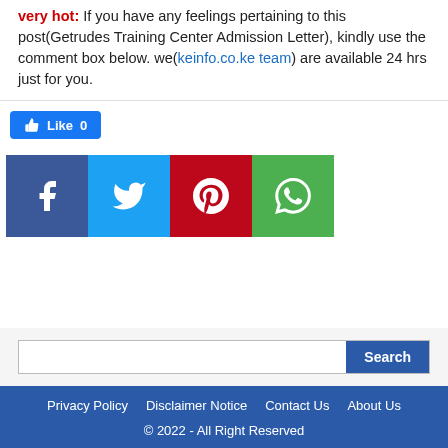very hot: If you have any feelings pertaining to this post(Getrudes Training Center Admission Letter), kindly use the comment box below. we(keinfo.co.ke team) are available 24 hrs just for you.
[Figure (infographic): Facebook Like button showing 'Like 0', and four social media share icon buttons: Facebook (blue), Twitter (light blue), Pinterest (red), WhatsApp (green)]
[Figure (screenshot): Search input field with a Search button]
Privacy Policy   Disclaimer Notice   Contact Us   About Us
© 2022 - All Right Reserved